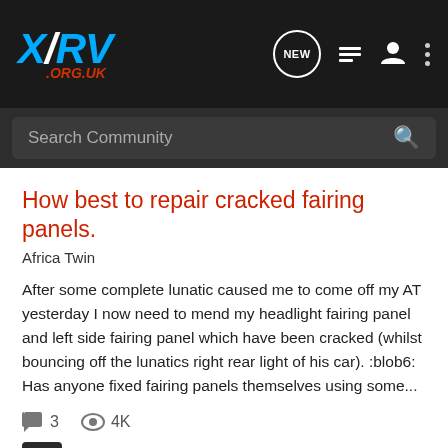XRV .ORG.UK
Search Community
How best to repair cracked fairing panels.
Africa Twin
After some complete lunatic caused me to come off my AT yesterday I now need to mend my headlight fairing panel and left side fairing panel which have been cracked (whilst bouncing off the lunatics right rear light of his car). :blob6: Has anyone fixed fairing panels themselves using some...
3  4K
racinghero55 · Jan 27, 2011
cracked  destroyed  fairing  fiberglass  panels  rear light  repair